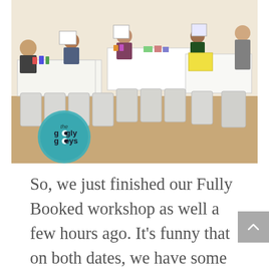[Figure (photo): A photo of a workshop scene with people sitting at tables holding up artwork. Tables are arranged in rows with folding chairs. Art supplies visible. A teal/blue circular logo in the bottom-left corner reads 'the googly gooeys'.]
So, we just finished our Fully Booked workshop as well a few hours ago.  It's funny that on both dates, we have some boyfriend-girlfriend bonding sessions and just yesterday, a mother-daughter bonding session too!  I was teasing